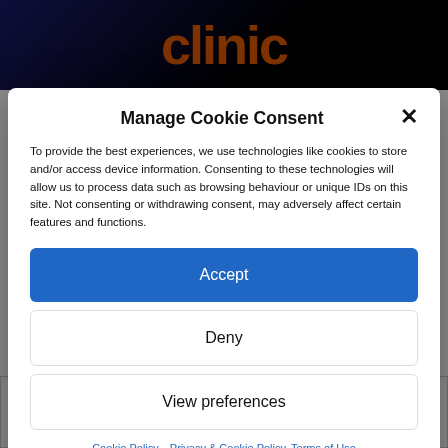[Figure (screenshot): Background website header with orange logo text on dark background]
Manage Cookie Consent
To provide the best experiences, we use technologies like cookies to store and/or access device information. Consenting to these technologies will allow us to process data such as browsing behaviour or unique IDs on this site. Not consenting or withdrawing consent, may adversely affect certain features and functions.
Accept
Deny
View preferences
Cookie Policy   Privacy & Cookie Policy, Terms of Use
[Figure (screenshot): Background website footer with bold 'Conference' text]